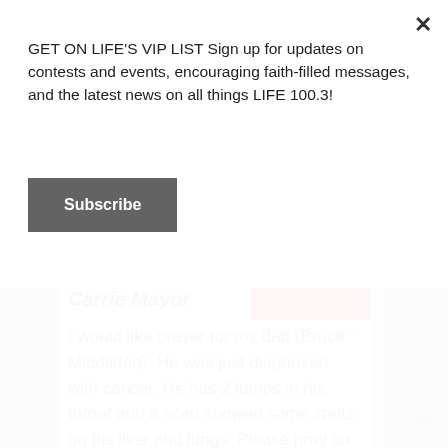GET ON LIFE'S VIP LIST Sign up for updates on contests and events, encouraging faith-filled messages, and the latest news on all things LIFE 100.3!
Subscribe
Carrie Mayor
Prayed for 13 times.
I would like prayer for my dad (Bruce Middleton). He was just diagnosed with cancer. He has 2 lumps in his throat and a scan showed some spots on his liver and lungs. Please pray for peace as he is having a hard time dealing with this as he witnessed my younger uncle and my aunt die from cancer. Please also pray for healing as he will be starting g